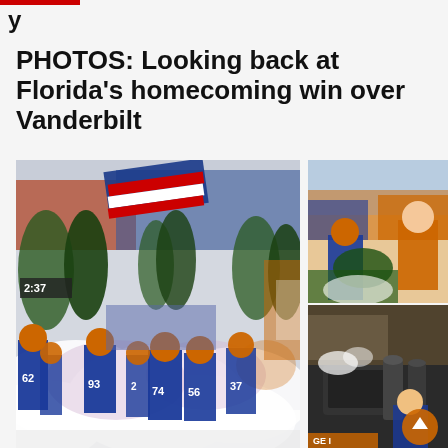y
PHOTOS: Looking back at Florida's homecoming win over Vanderbilt
[Figure (photo): Florida Gators football team running onto the field through white smoke and pyrotechnics during homecoming game entrance, players wearing blue jerseys with orange helmets, numbers visible include 62, 93, 74, 56, 37, scoreboard shows 2:37, packed stadium crowd in background]
[Figure (photo): Side panel top: Florida Gators fans and players in stadium stands with orange and blue colors]
[Figure (photo): Side panel bottom: Smoke machine / pyrotechnic equipment on the sideline with operator]